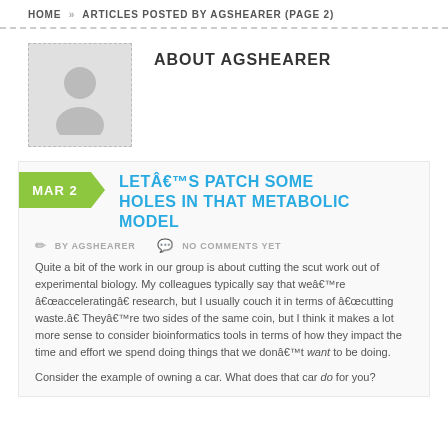HOME » ARTICLES POSTED BY AGSHEARER (PAGE 2)
[Figure (illustration): Gray placeholder avatar box with a silhouette figure icon]
ABOUT AGSHEARER
LETÂ€™S PATCH SOME HOLES IN THAT METABOLIC MODEL
BY AGSHEARER   NO COMMENTS YET
Quite a bit of the work in our group is about cutting the scut work out of experimental biology. My colleagues typically say that weâ€™re â€œacceleratingâ€ research, but I usually couch it in terms of â€œcutting waste.â€ Theyâ€™re two sides of the same coin, but I think it makes a lot more sense to consider bioinformatics tools in terms of how they impact the time and effort we spend doing things that we donâ€™t want to be doing.
Consider the example of owning a car. What does that car do for you?